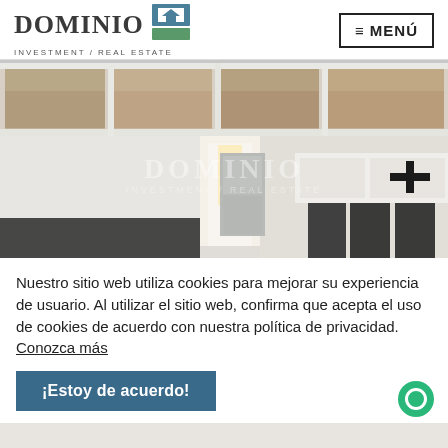DOMINIO INVESTMENT / REAL ESTATE — MENÚ
[Figure (photo): Interior photo of an apartment/property showing white beamed ceiling with exposed wooden panels, modern kitchen area with white cabinets, stainless steel appliances, and dark dining chairs. Dominio Investment / Real Estate watermark overlaid.]
Nuestro sitio web utiliza cookies para mejorar su experiencia de usuario. Al utilizar el sitio web, confirma que acepta el uso de cookies de acuerdo con nuestra política de privacidad.   Conozca más
¡Estoy de acuerdo!